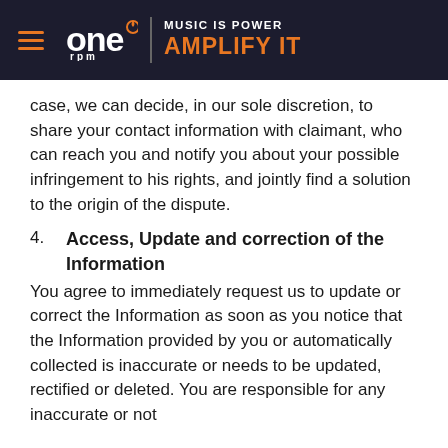ONErpm | MUSIC IS POWER AMPLIFY IT
case, we can decide, in our sole discretion, to share your contact information with claimant, who can reach you and notify you about your possible infringement to his rights, and jointly find a solution to the origin of the dispute.
4. Access, Update and correction of the Information
You agree to immediately request us to update or correct the Information as soon as you notice that the Information provided by you or automatically collected is inaccurate or needs to be updated, rectified or deleted. You are responsible for any inaccurate or not